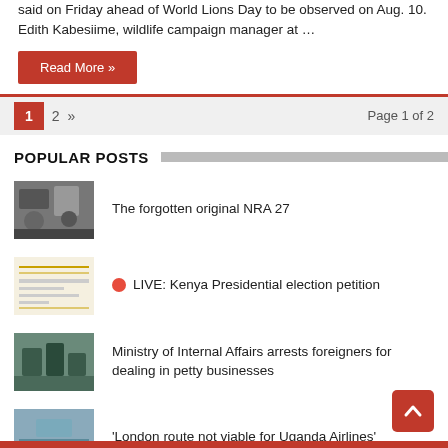said on Friday ahead of World Lions Day to be observed on Aug. 10. Edith Kabesiime, wildlife campaign manager at …
Read More »
1  2  »  Page 1 of 2
POPULAR POSTS
The forgotten original NRA 27
LIVE: Kenya Presidential election petition
Ministry of Internal Affairs arrests foreigners for dealing in petty businesses
'London route not viable for Uganda Airlines'